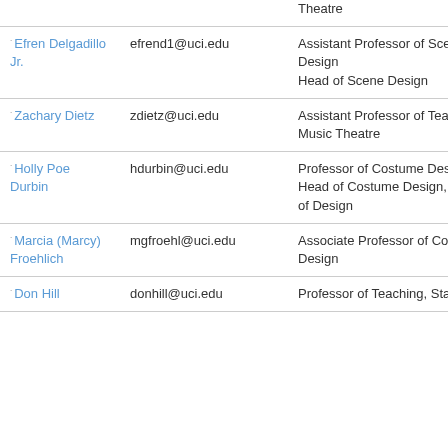| Name | Email | Title |
| --- | --- | --- |
|  |  | Theatre |
| Efren Delgadillo Jr. | efrend1@uci.edu | Assistant Professor of Scene Design
Head of Scene Design |
| Zachary Dietz | zdietz@uci.edu | Assistant Professor of Teaching, Music Theatre |
| Holly Poe Durbin | hdurbin@uci.edu | Professor of Costume Design
Head of Costume Design, Head of Design |
| Marcia (Marcy) Froehlich | mgfroehl@uci.edu | Associate Professor of Costume Design |
| Don Hill | donhill@uci.edu | Professor of Teaching, Stage |